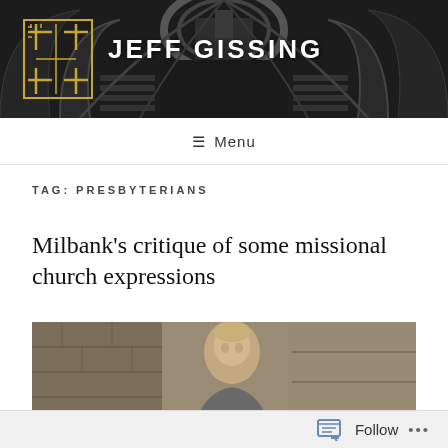[Figure (photo): Header banner showing a black and white photo of a church interior with stone arches and altar, overlaid with gold cross logo and white text 'JEFF GISSING']
≡ Menu
TAG: PRESBYTERIANS
Milbank's critique of some missional church expressions
[Figure (photo): Partial photo of a man (John Milbank) in front of a stone wall background]
Follow ...